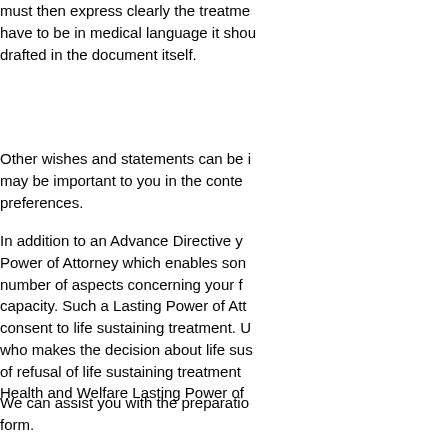must then express clearly the treatment wishes. It does not have to be in medical language it should be in your words, drafted in the document itself.
Other wishes and statements can be included such as things that may be important to you in the context of care or personal preferences.
In addition to an Advance Directive you may wish to consider a Power of Attorney which enables someone to decide about a number of aspects concerning your finances and welfare if you lose capacity. Such a Lasting Power of Attorney can also specifically consent to life sustaining treatment. Under such an arrangement who makes the decision about life sustaining treatment in the face of refusal of life sustaining treatment in an Advance Directive the Health and Welfare Lasting Power of
We can assist you with the preparation of this document or the form.